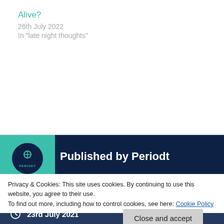Alive?
26th July 2022
In "late night thoughts"
Published by Periodt
View all posts by Periodt
23rd July 2021
Privacy & Cookies: This site uses cookies. By continuing to use this website, you agree to their use.
To find out more, including how to control cookies, see here: Cookie Policy
Close and accept